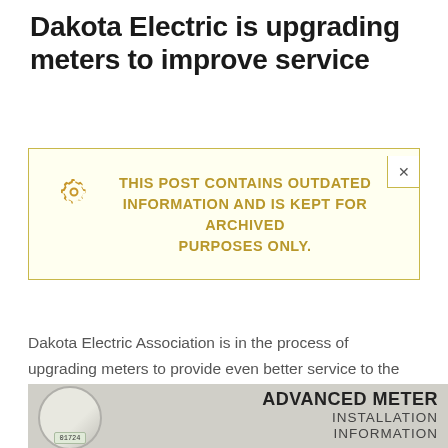Dakota Electric is upgrading meters to improve service
THIS POST CONTAINS OUTDATED INFORMATION AND IS KEPT FOR ARCHIVED PURPOSES ONLY.
Dakota Electric Association is in the process of upgrading meters to provide even better service to the members of the electric cooperative.
[Figure (photo): Photo of an electric meter with text overlay reading 'ADVANCED METER INSTALLATION INFORMATION']